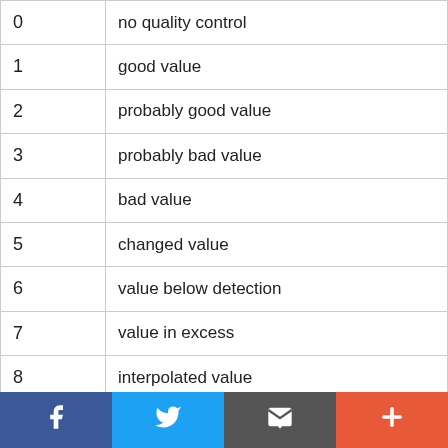| 0 | no quality control |
| 1 | good value |
| 2 | probably good value |
| 3 | probably bad value |
| 4 | bad value |
| 5 | changed value |
| 6 | value below detection |
| 7 | value in excess |
| 8 | interpolated value |
| 9 | missing value |